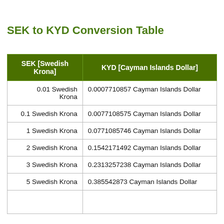SEK to KYD Conversion Table
| SEK [Swedish Krona] | KYD [Cayman Islands Dollar] |
| --- | --- |
| 0.01 Swedish Krona | 0.0007710857 Cayman Islands Dollar |
| 0.1 Swedish Krona | 0.0077108575 Cayman Islands Dollar |
| 1 Swedish Krona | 0.0771085746 Cayman Islands Dollar |
| 2 Swedish Krona | 0.1542171492 Cayman Islands Dollar |
| 3 Swedish Krona | 0.2313257238 Cayman Islands Dollar |
| 5 Swedish Krona | 0.385542873 Cayman Islands Dollar |
|  |  |